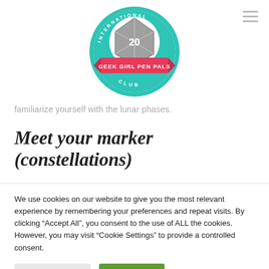[Figure (logo): International Geek Girl Pen Pals Club logo: teal circular badge with a d20 die in the center, red ribbon banner reading 'GEEK GIRL PEN PALS', text 'INTERNATIONAL' along the top arc and 'CLUB' along the bottom arc]
familiarize yourself with the lunar phases.
Meet your marker (constellations)
We use cookies on our website to give you the most relevant experience by remembering your preferences and repeat visits. By clicking “Accept All”, you consent to the use of ALL the cookies. However, you may visit "Cookie Settings" to provide a controlled consent.
Cookie Settings | Accept All